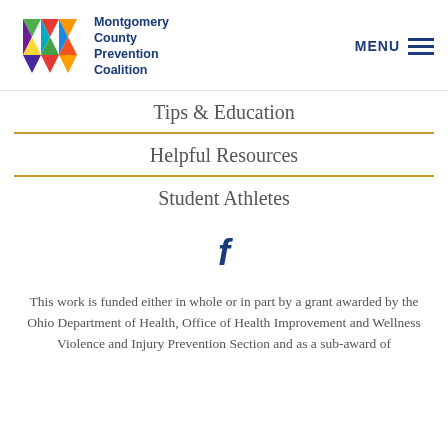[Figure (logo): Montgomery County Prevention Coalition colorful M logo with organization name]
Tips & Education
Helpful Resources
Student Athletes
[Figure (illustration): Facebook social media icon (f)]
This work is funded either in whole or in part by a grant awarded by the Ohio Department of Health, Office of Health Improvement and Wellness Violence and Injury Prevention Section and as a sub-award of